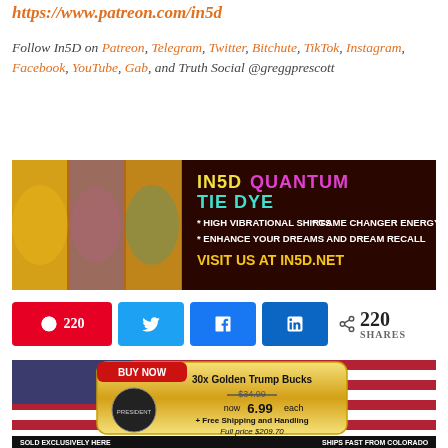https://www.patreon.com/in5d
Follow In5D on Patreon, Telegram, Twitter, Bitchute, TikTok, Instagram, Facebook, YouTube, Gab, and Truth Social @greggprescott
[Figure (photo): In5D Quantum Tie Dye banner ad with people wearing colorful tie-dye shirts, text reading HIGH VIBRATIONAL SHIRTS, GAME CHANGER ENERGY, ENHANCE YOUR DREAMS AND DREAM RECALL, VISIT US AT IN5D.NET]
[Figure (infographic): Social share bar with Pinterest (220), Twitter, Facebook, LinkedIn buttons and 220 SHARES count]
[Figure (photo): Advertisement for 30x Golden Trump Bucks, BUY NOW, $34.99 crossed out, now 6.99 each, + Free Shipping and Handling, Full price $209.70, SOLD EXCLUSIVELY HERE with payment icons, SHIPS FAST FROM COLORADO]